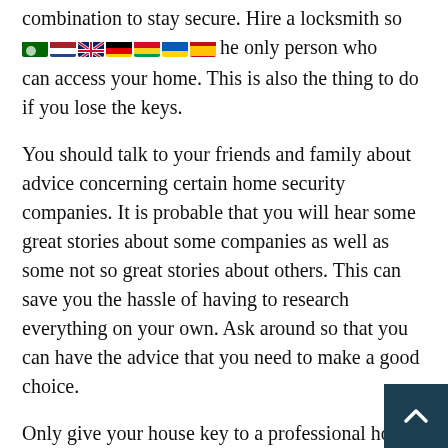combination to stay secure. Hire a locksmith so that you can be sure you are the only person who can access your home. This is also the thing to do if you lose the keys.
You should talk to your friends and family about advice concerning certain home security companies. It is probable that you will hear some great stories about some companies as well as some not so great stories about others. This can save you the hassle of having to research everything on your own. Ask around so that you can have the advice that you need to make a good choice.
Only give your house key to a professional house cleaner if you trust them. You need to ensure that they are honest and reputable according to